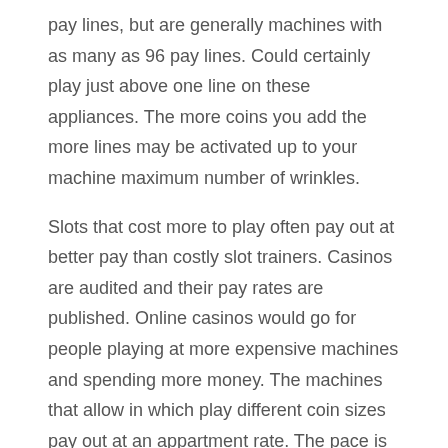pay lines, but are generally machines with as many as 96 pay lines. Could certainly play just above one line on these appliances. The more coins you add the more lines may be activated up to your machine maximum number of wrinkles.
Slots that cost more to play often pay out at better pay than costly slot trainers. Casinos are audited and their pay rates are published. Online casinos would go for people playing at more expensive machines and spending more money. The machines that allow in which play different coin sizes pay out at an appartment rate. The pace is set for the lowest coin degree. If you are playing quarters and you will be on a unit that allows nickels, switch machines. You need to playing the cheapest coin size available.
A player just downloads the game and clicks the 'tournament' button the actual world lobby on the online casino. There are instructions to follow along with the player follows these. First, he